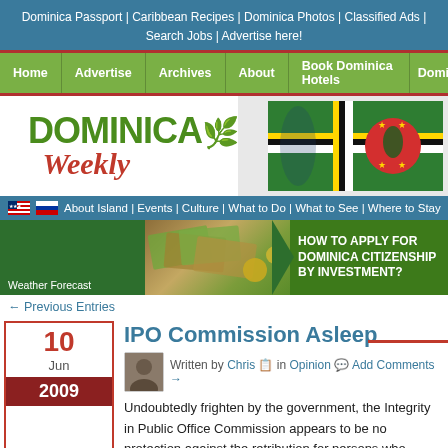Dominica Passport | Caribbean Recipes | Dominica Photos | Classified Ads | Search Jobs | Advertise here!
Home | Advertise | Archives | About | Book Dominica Hotels | Domi
[Figure (logo): Dominica Weekly logo with green DOMINICA text, red leaf icon, and italic red Weekly text, alongside Dominica flag illustration]
About Island | Events | Culture | What to Do | What to See | Where to Stay
[Figure (infographic): Advertisement banner: HOW TO APPLY FOR DOMINICA CITIZENSHIP BY INVESTMENT? with money/currency imagery]
Weather Forecast
← Previous Entries
IPO Commission Asleep
Written by Chris in Opinion Add Comments →
Undoubtedly frighten by the government, the Integrity in Public Office Commission appears to be no protection against the retribution for persons who became involved in the public interest...